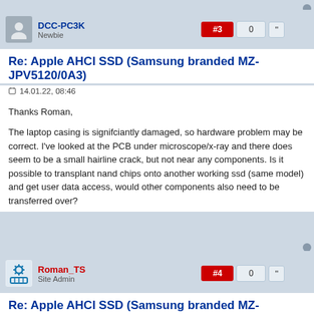DCC-PC3K
Newbie
Re: Apple AHCI SSD (Samsung branded MZ-JPV5120/0A3)
14.01.22, 08:46
Thanks Roman,
The laptop casing is signifciantly damaged, so hardware problem may be correct. I've looked at the PCB under microscope/x-ray and there does seem to be a small hairline crack, but not near any components. Is it possible to transplant nand chips onto another working ssd (same model) and get user data access, would other components also need to be transferred over?
Roman_TS
Site Admin
Re: Apple AHCI SSD (Samsung branded MZ-JPV5120/0A3)
14.01.22, 09:57
Yes, the SSD drives does not store anything critical in the RAM / CPU, so you could transfer only the NAND chips, it would be enough.